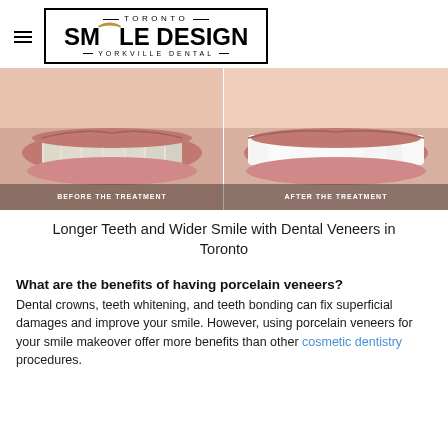Toronto Smile Design – Yorkville Dental
[Figure (photo): Before and after comparison of dental veneer treatment showing two close-up photos of a person's smile side by side. Left panel labeled 'BEFORE THE TREATMENT', right panel labeled 'AFTER THE TREATMENT'.]
Longer Teeth and Wider Smile with Dental Veneers in Toronto
What are the benefits of having porcelain veneers?
Dental crowns, teeth whitening, and teeth bonding can fix superficial damages and improve your smile. However, using porcelain veneers for your smile makeover offer more benefits than other cosmetic dentistry procedures.